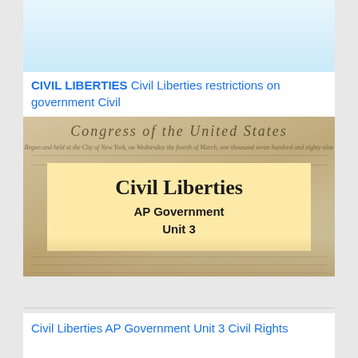[Figure (screenshot): Light blue rectangular area at the top of a web card]
CIVIL LIBERTIES Civil Liberties restrictions on government Civil
[Figure (illustration): Photo of an aged parchment document (Bills of Rights/Congress of the United States) with handwritten text, overlaid by a tan/beige box containing the text 'Civil Liberties' in large serif bold font, 'AP Government' and 'Unit 3' in bold sans-serif below]
Civil Liberties AP Government Unit 3 Civil Rights